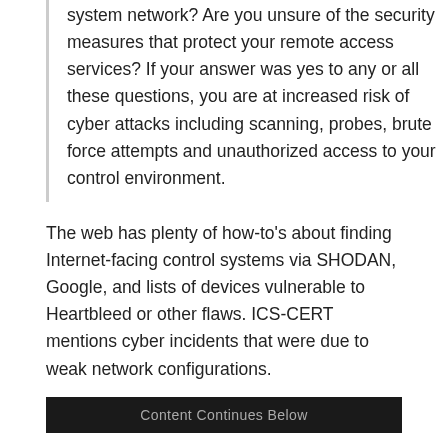system network? Are you unsure of the security measures that protect your remote access services? If your answer was yes to any or all these questions, you are at increased risk of cyber attacks including scanning, probes, brute force attempts and unauthorized access to your control environment.
The web has plenty of how-to's about finding Internet-facing control systems via SHODAN, Google, and lists of devices vulnerable to Heartbleed or other flaws. ICS-CERT mentions cyber incidents that were due to weak network configurations.
Content Continues Below